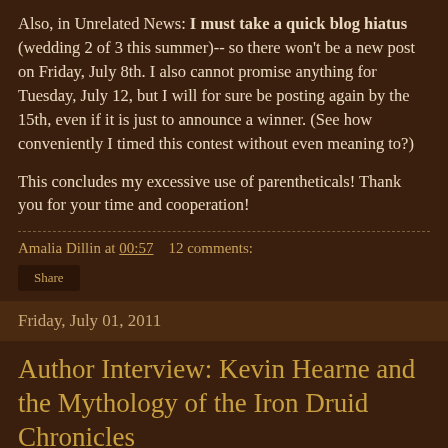Also, in Unrelated News: I must take a quick blog hiatus (wedding 2 of 3 this summer)-- so there won't be a new post on Friday, July 8th. I also cannot promise anything for Tuesday, July 12, but I will for sure be posting again by the 15th, even if it is just to announce a winner. (See how conveniently I timed this contest without even meaning to?)
This concludes my excessive use of parentheticals! Thank you for your time and cooperation!
Amalia Dillin at 00:57    12 comments:
Share
Friday, July 01, 2011
Author Interview: Kevin Hearne and the Mythology of the Iron Druid Chronicles
Kevin Hearne is the author of the Iron Druid Chronicles, a